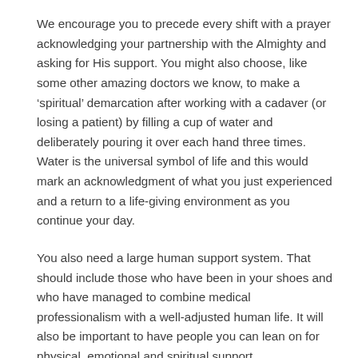We encourage you to precede every shift with a prayer acknowledging your partnership with the Almighty and asking for His support. You might also choose, like some other amazing doctors we know, to make a ‘spiritual’ demarcation after working with a cadaver (or losing a patient) by filling a cup of water and deliberately pouring it over each hand three times. Water is the universal symbol of life and this would mark an acknowledgment of what you just experienced and a return to a life-giving environment as you continue your day.
You also need a large human support system. That should include those who have been in your shoes and who have managed to combine medical professionalism with a well-adjusted human life. It will also be important to have people you can lean on for physical, emotional and spiritual support.
If all this sounds like an immense undertaking, that is because it